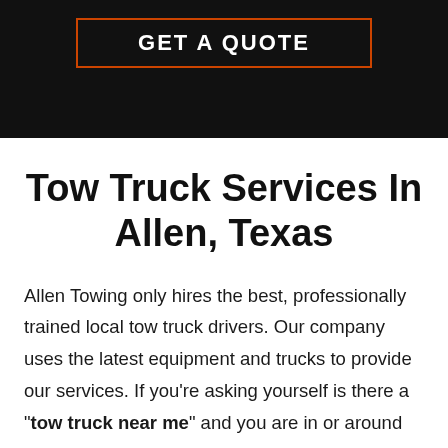[Figure (other): Dark header bar with an outlined orange/red rectangular button containing bold white text (call to action button, partially visible)]
Tow Truck Services In Allen, Texas
Allen Towing only hires the best, professionally trained local tow truck drivers. Our company uses the latest equipment and trucks to provide our services. If you're asking yourself is there a "tow truck near me" and you are in or around Allen TX, then give us a call now.  Our affordable services include: light duty towing, medium duty towing, heavy duty towing,